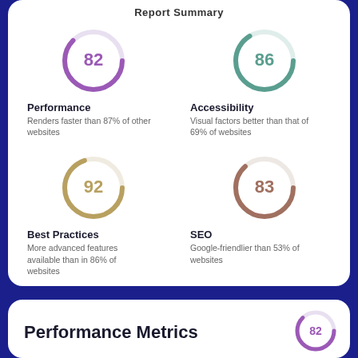Report Summary
[Figure (donut-chart): Performance]
[Figure (donut-chart): Accessibility]
Performance
Renders faster than 87% of other websites
Accessibility
Visual factors better than that of 69% of websites
[Figure (donut-chart): Best Practices]
[Figure (donut-chart): SEO]
Best Practices
More advanced features available than in 86% of websites
SEO
Google-friendlier than 53% of websites
Performance Metrics
[Figure (donut-chart): Performance Metrics]